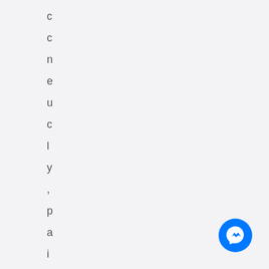conclusively, painful
[Figure (logo): Facebook Messenger blue circle icon with white lightning bolt chat symbol, positioned bottom right corner]